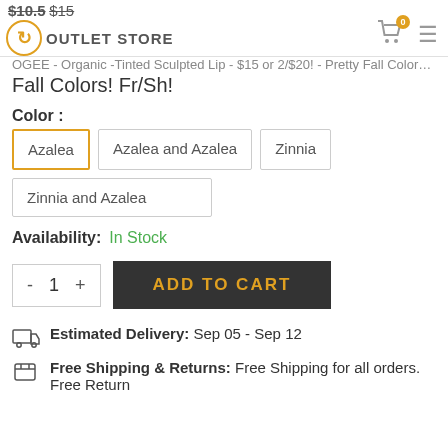$10.5 $15 OUTLET STORE
OGEE - Organic -Tinted Sculpted Lip - $15 or 2/$20! - Pretty Fall Colors! Fr/Sh!
Color :
Azalea | Azalea and Azalea | Zinnia | Zinnia and Azalea
Availability: In Stock
- 1 + ADD TO CART
Estimated Delivery: Sep 05 - Sep 12
Free Shipping & Returns: Free Shipping for all orders. Free Return